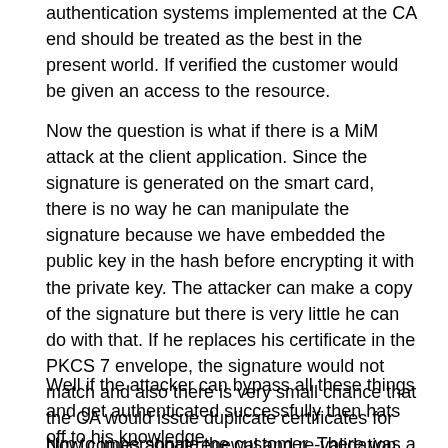authentication systems implemented at the CA end should be treated as the best in the present world. If verified the customer would be given an access to the resource.
Now the question is what if there is a MiM attack at the client application. Since the signature is generated on the smart card, there is no way he can manipulate the signature because we have embedded the public key in the hash before encrypting it with the private key. The attacker can make a copy of the signature but there is very little he can do with that. If he replaces his certificate in the PKCS 7 envelope, the signature would not match and also there is very small chance that the CA would issue duplicate certificates for him to impersonate the customer. There was a threat of the Smart Card PIN getting known to the attacker. We have encountered using the DH and AES algorithms implemented between the Graphical User Interface and the smart card service. The client and server communcation were using SSL protocol.
Well if the attacker can bypass all these things and get authenticated successfully then hats off to his knowledge.
Now comes about renewal and re-validation process. These